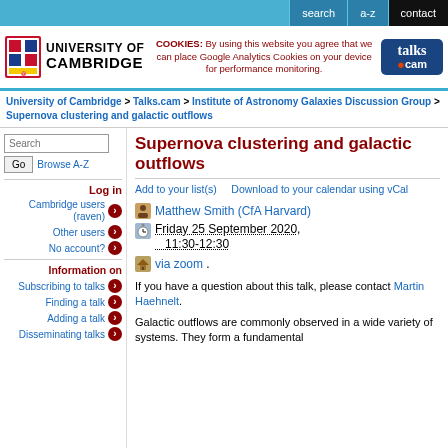search | a-z | contact
[Figure (logo): University of Cambridge crest and name logo, plus talks.cam logo, plus cookie notice]
COOKIES: By using this website you agree that we can place Google Analytics Cookies on your device for performance monitoring.
University of Cambridge > Talks.cam > Institute of Astronomy Galaxies Discussion Group > Supernova clustering and galactic outflows
Supernova clustering and galactic outflows
Add to your list(s)    Download to your calendar using vCal
Matthew Smith (CfA Harvard)
Friday 25 September 2020, 11:30-12:30
via zoom .
If you have a question about this talk, please contact Martin Haehnelt.
Galactic outflows are commonly observed in a wide variety of systems. They form a fundamental
Log in
Cambridge users (raven)
Other users
No account?
Information on
Subscribing to talks
Finding a talk
Adding a talk
Disseminating talks